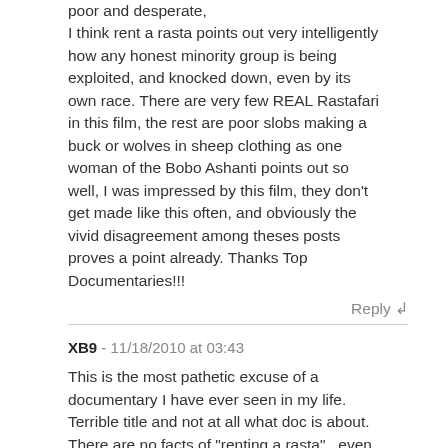poor and desperate, I think rent a rasta points out very intelligently how any honest minority group is being exploited, and knocked down, even by its own race. There are very few REAL Rastafari in this film, the rest are poor slobs making a buck or wolves in sheep clothing as one woman of the Bobo Ashanti points out so well, I was impressed by this film, they don't get made like this often, and obviously the vivid disagreement among theses posts proves a point already. Thanks Top Documentaries!!!
Reply ↲
XB9 - 11/18/2010 at 03:43
This is the most pathetic excuse of a documentary I have ever seen in my life. Terrible title and not at all what doc is about. There are no facts of "renting a rasta"...even the supposed "interviews" are dubbed, and not the actual person speaking. It's ridiculous. I thought this website had more reputable films than this.